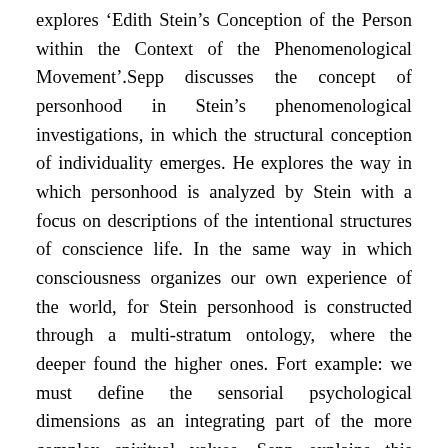explores 'Edith Stein's Conception of the Person within the Context of the Phenomenological Movement'.Sepp discusses the concept of personhood in Stein's phenomenological investigations, in which the structural conception of individuality emerges. He explores the way in which personhood is analyzed by Stein with a focus on descriptions of the intentional structures of conscience life. In the same way in which consciousness organizes our own experience of the world, for Stein personhood is constructed through a multi-stratum ontology, where the deeper found the higher ones. Fort example: we must define the sensorial psychological dimensions as an integrating part of the more complex spiritual values. Sepp explains this important definition with reference to Stein's distinction between soul and spirit; soul relates to contemporary psychological themes, spirit concerns the values sphere, where social values